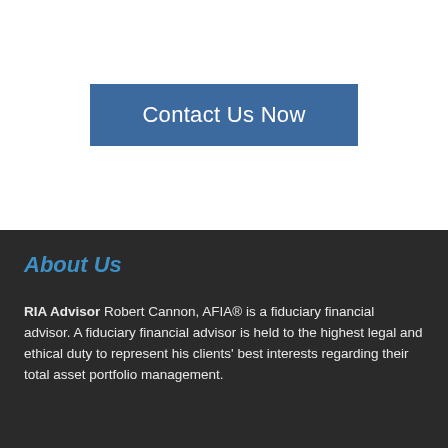Contact Us Now
About Us
RIA Advisor Robert Cannon, AFIA® is a fiduciary financial advisor. A fiduciary financial advisor is held to the highest legal and ethical duty to represent his clients' best interests regarding their total asset portfolio management.